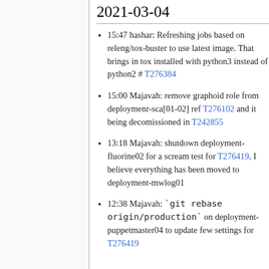2021-03-04
15:47 hashar: Refreshing jobs based on releng/tox-buster to use latest image. That brings in tox installed with python3 instead of python2 # T276384
15:00 Majavah: remove graphoid role from deploymenr-sca[01-02] ref T276102 and it being decomissioned in T242855
13:18 Majavah: shutdown deployment-fluorine02 for a scream test for T276419, I believe everything has been moved to deployment-mwlog01
12:38 Majavah: `git rebase origin/production` on deployment-puppetmaster04 to update few settings for T276419